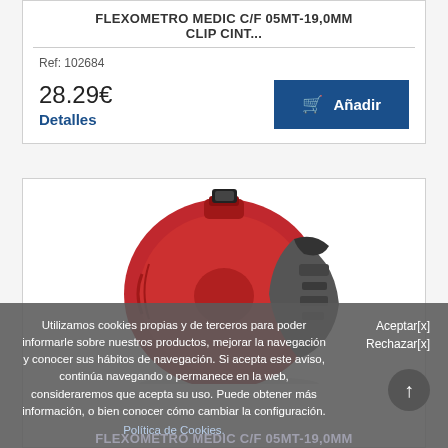FLEXOMETRO MEDIC C/F 05MT-19,0MM CLIP CINT...
Ref: 102684
28.29€
Detalles
Añadir
[Figure (photo): Red and grey tape measure (flexometro) viewed from above, circular body with red casing and dark grey accents]
Utilizamos cookies propias y de terceros para poder informarle sobre nuestros productos, mejorar la navegación y conocer sus hábitos de navegación. Si acepta este aviso, continúa navegando o permanece en la web, consideraremos que acepta su uso. Puede obtener más información, o bien conocer cómo cambiar la configuración.
Política de Cookies.
Aceptar[x]
Rechazar[x]
FLEXOMETRO MEDIC C/F 05MT-19,0MM